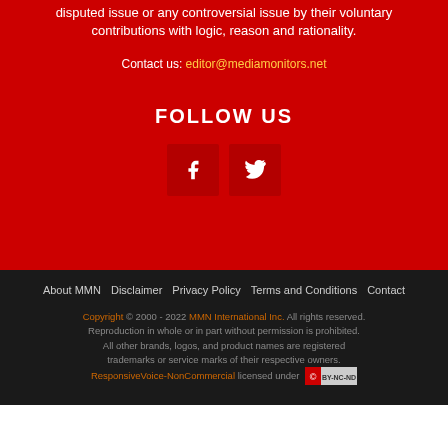disputed issue or any controversial issue by their voluntary contributions with logic, reason and rationality.
Contact us: editor@mediamonitors.net
FOLLOW US
[Figure (other): Facebook and Twitter social media icon buttons]
About MMN | Disclaimer | Privacy Policy | Terms and Conditions | Contact
Copyright © 2000 - 2022 MMN International Inc. All rights reserved. Reproduction in whole or in part without permission is prohibited. All other brands, logos, and product names are registered trademarks or service marks of their respective owners. ResponsiveVoice-NonCommercial licensed under [CC BY-NC-ND badge]